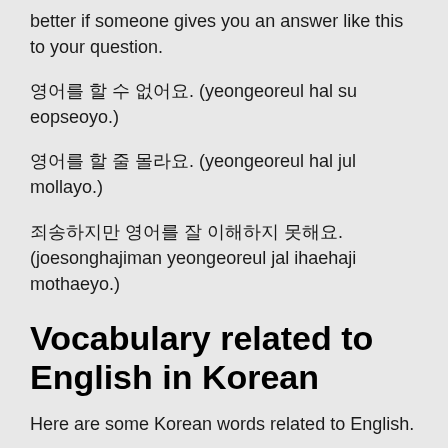better if someone gives you an answer like this to your question.
영어를 할 수 없어요. (yeongeoreul hal su eopseoyo.)
영어를 할 줄 몰라요. (yeongeoreul hal jul mollayo.)
죄송하지만 영어를 잘 이해하지 못해요. (joesonghajiman yeongeoreul jal ihaehaji mothaeyo.)
Vocabulary related to English in Korean
Here are some Korean words related to English.